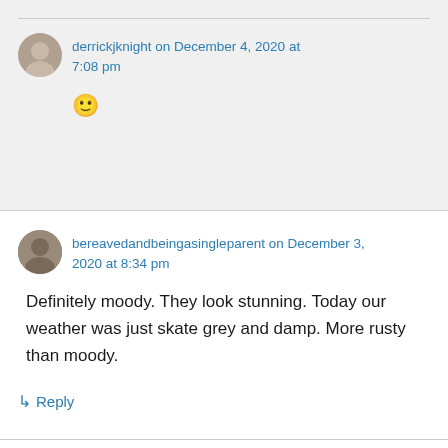derrickjknight on December 4, 2020 at 7:08 pm
🙂
bereavedandbeingasingleparent on December 3, 2020 at 8:34 pm
Definitely moody. They look stunning. Today our weather was just skate grey and damp. More rusty than moody.
↳ Reply